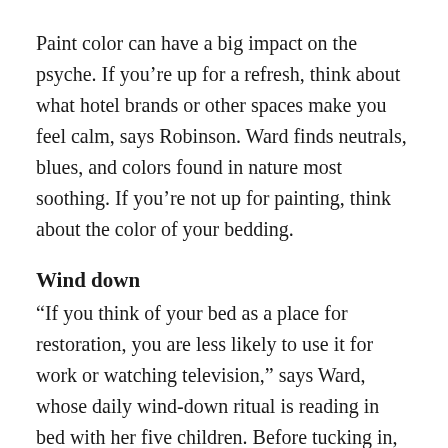Paint color can have a big impact on the psyche. If you’re up for a refresh, think about what hotel brands or other spaces make you feel calm, says Robinson. Ward finds neutrals, blues, and colors found in nature most soothing. If you’re not up for painting, think about the color of your bedding.
Wind down
“If you think of your bed as a place for restoration, you are less likely to use it for work or watching television,” says Ward, whose daily wind-down ritual is reading in bed with her five children. Before tucking in, Cramer enjoys a hot Epsom salt bath and sprays pillowcases with a lavender-scented mist for its calming effect.